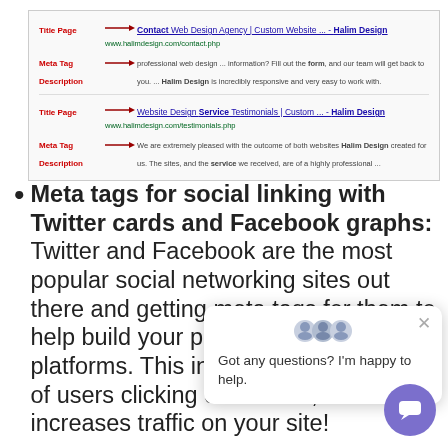[Figure (screenshot): Screenshot of two Google search results for Halim Design website, with red labels and arrows pointing to 'Title Page' and 'Meta Tag Description' elements for each result.]
Meta tags for social linking with Twitter cards and Facebook graphs: Twitter and Facebook are the most popular social networking sites out there and getting meta tags for them to help build your presence on these platforms. This increases the chances of users clicking on the link, hence increases traffic on your site!